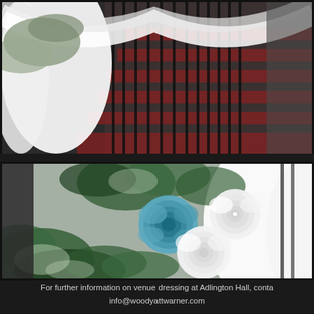[Figure (photo): Top photo showing white draped fabric and green/silver foliage decorating a staircase railing at Adlington Hall, with dark iron railings and red carpet steps visible in the background.]
[Figure (photo): Bottom close-up photo showing a floral arrangement with one blue/teal rose and two white roses surrounded by green and white variegated ivy leaves, attached to white draped fabric on a staircase.]
For further information on venue dressing at Adlington Hall, conta info@woodyattwarner.com